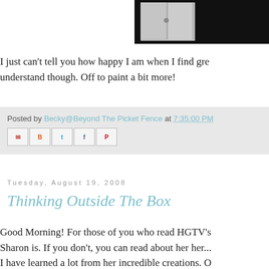[Figure (photo): Partial view of a white cabinet or appliance against a dark background, cropped at top of page]
I just can't tell you how happy I am when I find grea... understand though. Off to paint a bit more!
Posted by Becky@Beyond The Picket Fence at 7:35:00 PM
Tuesday, August 19, 2008
Thinking Outside The Box
Good Morning! For those of you who read HGTV's... Sharon is. If you don't, you can read about her her... I have learned a lot from her incredible creations. O... learned from her is how many things can be built...